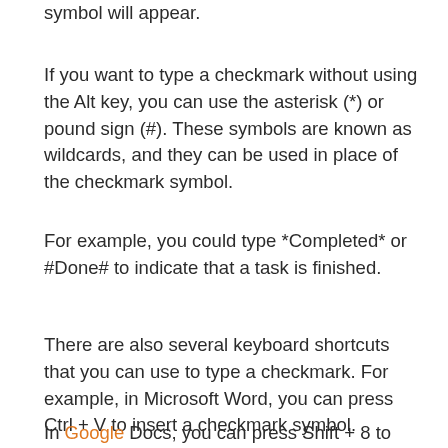symbol will appear.
If you want to type a checkmark without using the Alt key, you can use the asterisk (*) or pound sign (#). These symbols are known as wildcards, and they can be used in place of the checkmark symbol.
For example, you could type *Completed* or #Done# to indicate that a task is finished.
There are also several keyboard shortcuts that you can use to type a checkmark. For example, in Microsoft Word, you can press Ctrl + V to insert a checkmark symbol.
In Google Docs, you can press Shift + 8 to